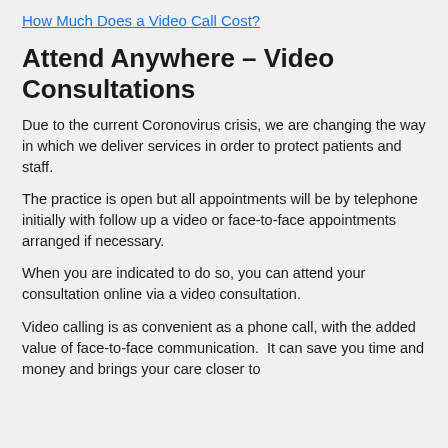How Much Does a Video Call Cost?
Attend Anywhere – Video Consultations
Due to the current Coronovirus crisis, we are changing the way in which we deliver services in order to protect patients and staff.
The practice is open but all appointments will be by telephone initially with follow up a video or face-to-face appointments arranged if necessary.
When you are indicated to do so, you can attend your consultation online via a video consultation.
Video calling is as convenient as a phone call, with the added value of face-to-face communication.  It can save you time and money and brings your care closer to